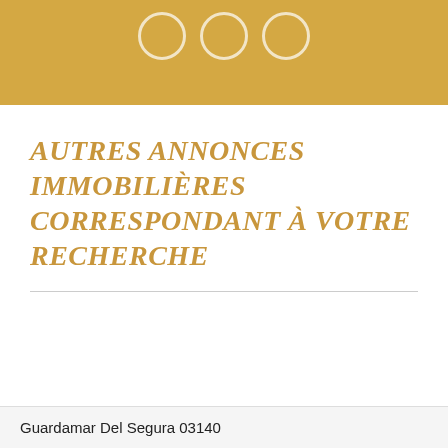[Figure (illustration): Golden/amber colored header bar with three overlapping circle outlines near the top center]
Autres annonces immobilières correspondant à votre recherche
Guardamar Del Segura 03140